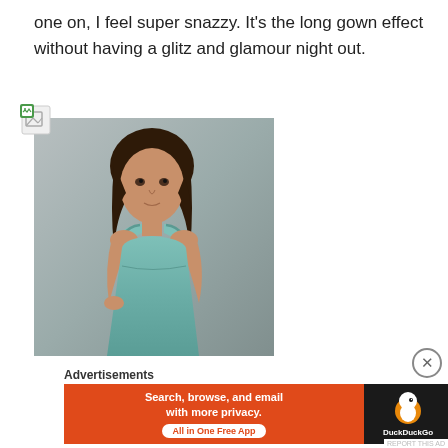one on, I feel super snazzy. It's the long gown effect without having a glitz and glamour night out.
[Figure (photo): A young woman with long dark hair wearing a teal/sage spaghetti-strap maxi dress, standing against a gray background. Image has a broken image icon in the top-left corner.]
Advertisements
[Figure (infographic): DuckDuckGo advertisement banner. Orange left section with white bold text: 'Search, browse, and email with more privacy.' and a white pill button 'All in One Free App'. Dark right section with DuckDuckGo duck logo and 'DuckDuckGo' text.]